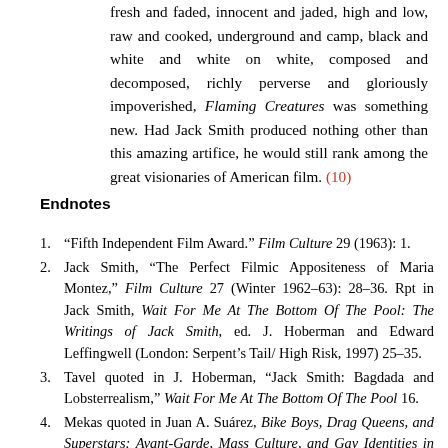fresh and faded, innocent and jaded, high and low, raw and cooked, underground and camp, black and white and white on white, composed and decomposed, richly perverse and gloriously impoverished, Flaming Creatures was something new. Had Jack Smith produced nothing other than this amazing artifice, he would still rank among the great visionaries of American film. (10)
Endnotes
1. “Fifth Independent Film Award.” Film Culture 29 (1963): 1.
2. Jack Smith, “The Perfect Filmic Appositeness of Maria Montez,” Film Culture 27 (Winter 1962–63): 28–36. Rpt in Jack Smith, Wait For Me At The Bottom Of The Pool: The Writings of Jack Smith, ed. J. Hoberman and Edward Leffingwell (London: Serpent’s Tail/ High Risk, 1997) 25–35.
3. Tavel quoted in J. Hoberman, “Jack Smith: Bagdada and Lobsterrealism,” Wait For Me At The Bottom Of The Pool 16.
4. Mekas quoted in Juan A. Suárez, Bike Boys, Drag Queens, and Superstars: Avant-Garde, Mass Culture, and Gay Identities in the 1960s Underground Cinema (Bloomington: Indiana UP, 1996) 182.